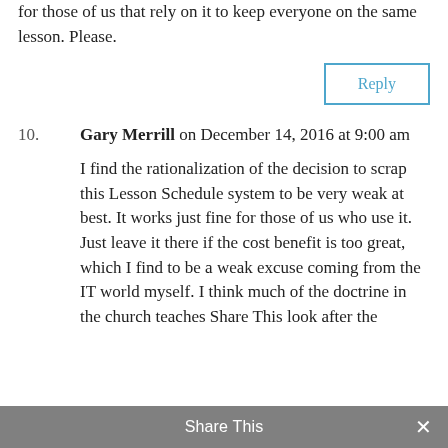for those of us that rely on it to keep everyone on the same lesson. Please.
Reply
10.  Gary Merrill on December 14, 2016 at 9:00 am
I find the rationalization of the decision to scrap this Lesson Schedule system to be very weak at best. It works just fine for those of us who use it. Just leave it there if the cost benefit is too great, which I find to be a weak excuse coming from the IT world myself. I think much of the doctrine in the church teaches Share This look after the
Share This ✕